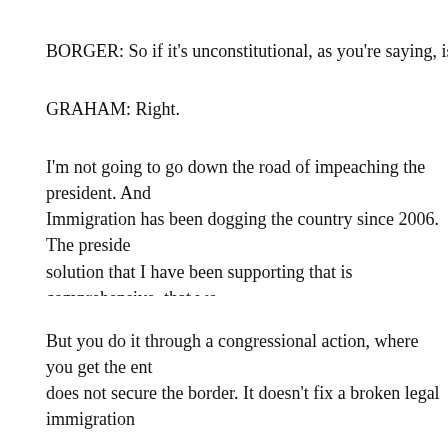BORGER: So if it's unconstitutional, as you're saying, is it an impe
GRAHAM: Right.
I'm not going to go down the road of impeaching the president. And Immigration has been dogging the country since 2006. The president solution that I have been supporting that is comprehensive, that wo people in question.
But you do it through a congressional action, where you get the ent does not secure the border. It doesn't fix a broken legal immigration millions of people left out in terms of the 11 million.
BORGER: OK.